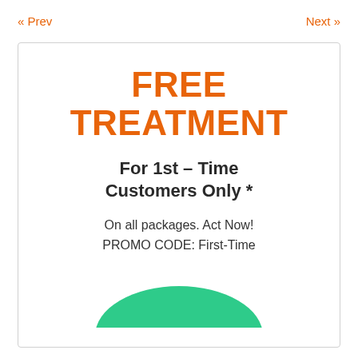« Prev   Next »
FREE TREATMENT
For 1st – Time Customers Only *
On all packages. Act Now!
PROMO CODE: First-Time
[Figure (illustration): Green rounded blob/shape illustration at the bottom of the card]